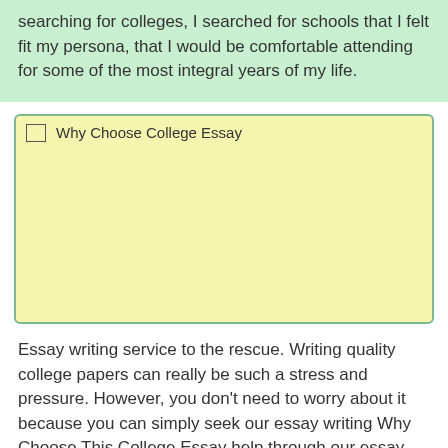searching for colleges, I searched for schools that I felt fit my persona, that I would be comfortable attending for some of the most integral years of my life.
[Figure (other): Broken image placeholder for 'Why Choose College Essay']
Essay writing service to the rescue. Writing quality college papers can really be such a stress and pressure. However, you don't need to worry about it because you can simply seek our essay writing Why Choose This College Essay help through our essay writer service. Cheap essay writing service